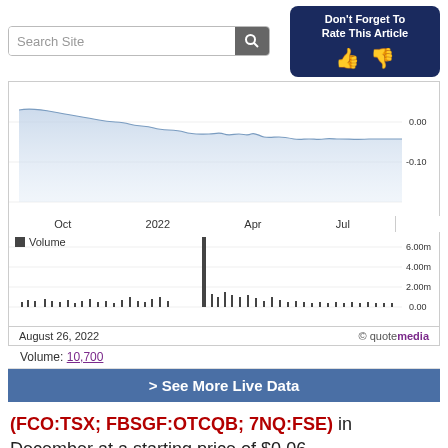Search Site
Don't Forget To Rate This Article
[Figure (continuous-plot): Stock price line chart showing price decline from ~$0.00 to -$0.10 range between Oct 2021 and Jul 2022, with x-axis labels: Oct, 2022, Apr, Jul, and y-axis labels: 0.00, -0.10]
[Figure (bar-chart): Volume bar chart from Oct 2021 to Jul 2022 with a large spike near Apr 2022. Y-axis labels: 6.00m, 4.00m, 2.00m, 0.00. Legend: Volume]
August 26, 2022  © quotemedia
Volume: 10,700
> See More Live Data
(FCO:TSX; FBSGF:OTCQB; 7NQ:FSE) in December at a starting price of $0.06.
Red Metal Driving EV Future